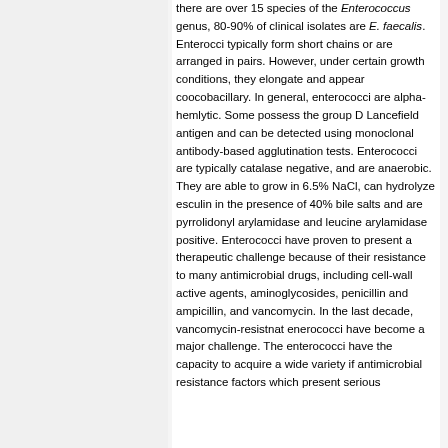there are over 15 species of the Enterococcus genus, 80-90% of clinical isolates are E. faecalis. Enterocci typically form short chains or are arranged in pairs. However, under certain growth conditions, they elongate and appear coocobacillary. In general, enterococci are alpha-hemlytic. Some possess the group D Lancefield antigen and can be detected using monoclonal antibody-based agglutination tests. Enterococci are typically catalase negative, and are anaerobic. They are able to grow in 6.5% NaCl, can hydrolyze esculin in the presence of 40% bile salts and are pyrrolidonyl arylamidase and leucine arylamidase positive. Enterococci have proven to present a therapeutic challenge because of their resistance to many antimicrobial drugs, including cell-wall active agents, aminoglycosides, penicillin and ampicillin, and vancomycin. In the last decade, vancomycin-resistnat enerococci have become a major challenge. The enterococci have the capacity to acquire a wide variety if antimicrobial resistance factors which present serious